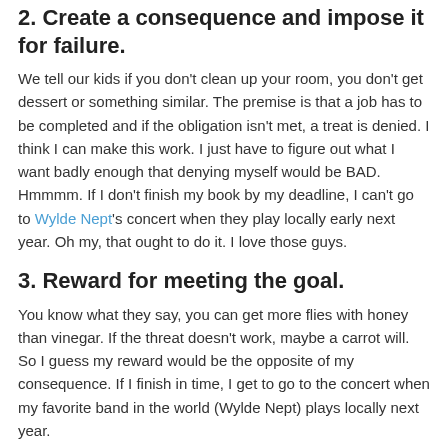2. Create a consequence and impose it for failure.
We tell our kids if you don't clean up your room, you don't get dessert or something similar. The premise is that a job has to be completed and if the obligation isn't met, a treat is denied. I think I can make this work. I just have to figure out what I want badly enough that denying myself would be BAD. Hmmmm. If I don't finish my book by my deadline, I can't go to Wylde Nept's concert when they play locally early next year. Oh my, that ought to do it. I love those guys.
3. Reward for meeting the goal.
You know what they say, you can get more flies with honey than vinegar. If the threat doesn't work, maybe a carrot will. So I guess my reward would be the opposite of my consequence. If I finish in time, I get to go to the concert when my favorite band in the world (Wylde Nept) plays locally next year.
4. Write a daily forecast result...